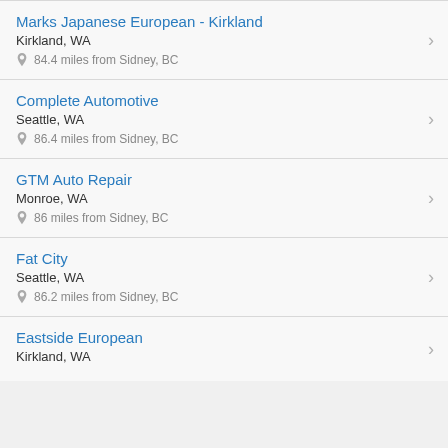Marks Japanese European - Kirkland
Kirkland, WA
84.4 miles from Sidney, BC
Complete Automotive
Seattle, WA
86.4 miles from Sidney, BC
GTM Auto Repair
Monroe, WA
86 miles from Sidney, BC
Fat City
Seattle, WA
86.2 miles from Sidney, BC
Eastside European
Kirkland, WA